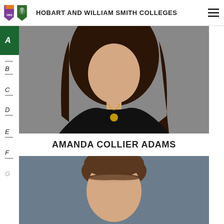HOBART AND WILLIAM SMITH COLLEGES
[Figure (photo): Portrait photo of Amanda Collier Adams, a young woman with long dark brown hair wearing a black top with a gold necklace, photographed against a gray background.]
AMANDA COLLIER ADAMS
[Figure (photo): Portrait photo of a young man with short brown hair, photographed against a blue-gray background.]